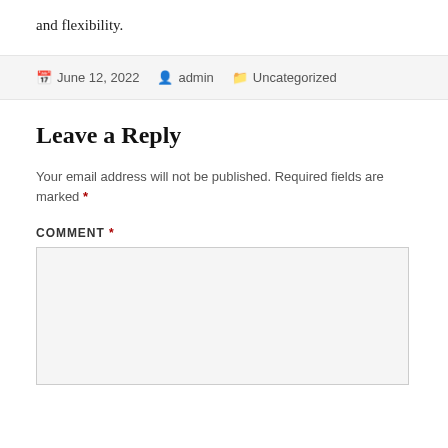and flexibility.
June 12, 2022  admin  Uncategorized
Leave a Reply
Your email address will not be published. Required fields are marked *
COMMENT *